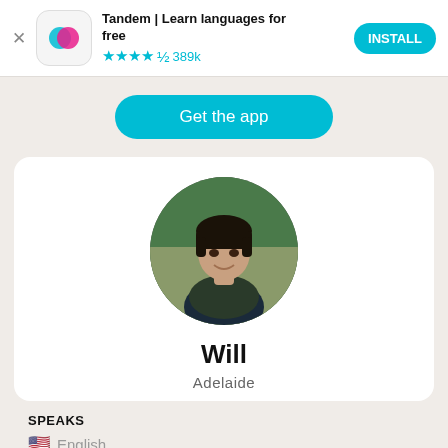[Figure (screenshot): App store banner for Tandem language learning app with icon, star rating, and INSTALL button]
Tandem | Learn languages for free
★★★★½ 389k
INSTALL
Get the app
[Figure (photo): Circular profile photo of a young man named Will, outdoors with greenery background]
Will
Adelaide
SPEAKS
🇺🇸 English
LEARNS